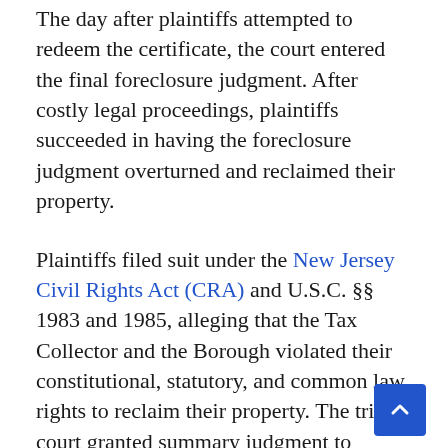The day after plaintiffs attempted to redeem the certificate, the court entered the final foreclosure judgment. After costly legal proceedings, plaintiffs succeeded in having the foreclosure judgment overturned and reclaimed their property.
Plaintiffs filed suit under the New Jersey Civil Rights Act (CRA) and U.S.C. §§ 1983 and 1985, alleging that the Tax Collector and the Borough violated their constitutional, statutory, and common law rights to reclaim their property. The trial court granted summary judgment to defendants, finding that the Tax Collector was entitled to qualified immunity and the Borough derivative immunity. The Appellate Division reversed and reinstated the case against the Tax